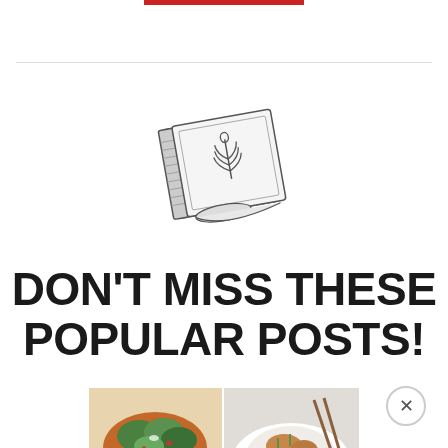[Figure (illustration): Small sketch illustration of a recipe book/cookbook with a wheat or leaf sprig drawn on the cover, shown at a slight angle]
DON'T MISS THESE POPULAR POSTS!
[Figure (photo): Two food photos side by side: left shows a salad bowl with greens and toppings, right shows a rice or grain bowl with toppings and chopsticks]